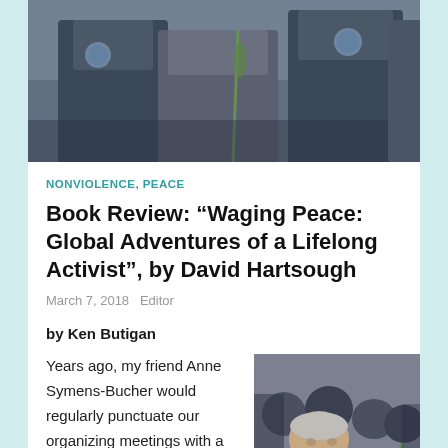[Figure (photo): Photograph of people including police officers in dark uniforms with badges]
NONVIOLENCE, PEACE
Book Review: “Waging Peace: Global Adventures of a Lifelong Activist”, by David Hartsough
March 7, 2018   Editor
by Ken Butigan
Years ago, my friend Anne Symens-Bucher would regularly punctuate our organizing meetings with a wistful cry, “I
[Figure (photo): Photograph of an older man with gray hair in a gray jacket among a crowd, holding what appears to be a blue flower]